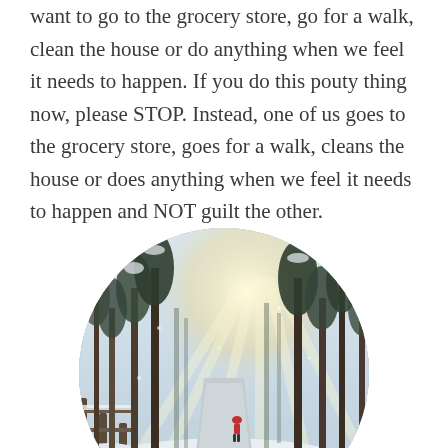want to go to the grocery store, go for a walk, clean the house or do anything when we feel it needs to happen. If you do this pouty thing now, please STOP. Instead, one of us goes to the grocery store, goes for a walk, cleans the house or does anything when we feel it needs to happen and NOT guilt the other.
[Figure (photo): Circular cropped photo of a snowy winter forest path with sunrays streaming through tall pine trees, a person in a red jacket walking in the distance, snow on the ground and a railing/fence visible on the left.]